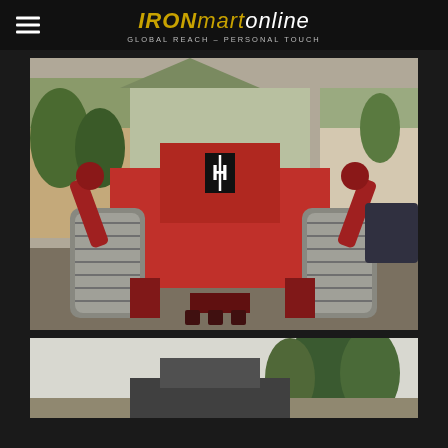IRONmartonline — GLOBAL REACH – PERSONAL TOUCH
[Figure (photo): Front/rear view of a red International Harvester crawler bulldozer/tractor with tracks, ripper attachment at the rear, and IH logo on the engine hood. The machine is photographed outdoors in a residential driveway with houses and trees visible in the background.]
[Figure (photo): Second photo of heavy construction equipment, partially visible at the bottom of the page, showing a lighter background with trees.]